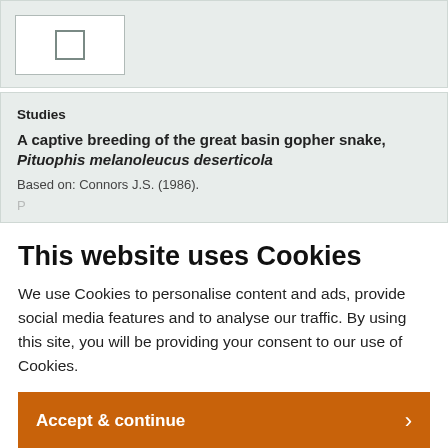[Figure (other): A white checkbox UI element on a light grey-green panel background]
Studies
A captive breeding of the great basin gopher snake, Pituophis melanoleucus deserticola
Based on: Connors J.S. (1986).
This website uses Cookies
We use Cookies to personalise content and ads, provide social media features and to analyse our traffic. By using this site, you will be providing your consent to our use of Cookies.
Accept & continue